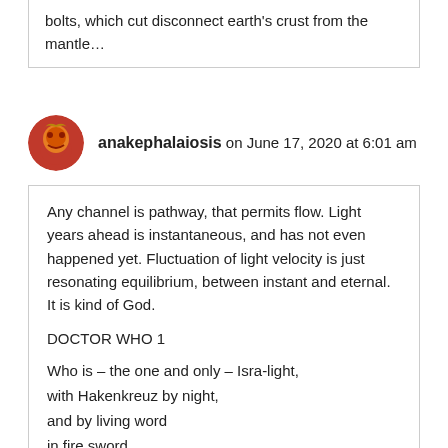bolts, which cut disconnect earth's crust from the mantle…
anakephalaiosis on June 17, 2020 at 6:01 am
Any channel is pathway, that permits flow. Light years ahead is instantaneous, and has not even happened yet. Fluctuation of light velocity is just resonating equilibrium, between instant and eternal. It is kind of God.

DOCTOR WHO 1

Who is – the one and only – Isra-light,
with Hakenkreuz by night,
and by living word
in fire sword,
he knows how to fight.

https://dl.dropboxusercontent.com/s/pnz9jpb73u1gfla/druidry-for-dummies.pdf